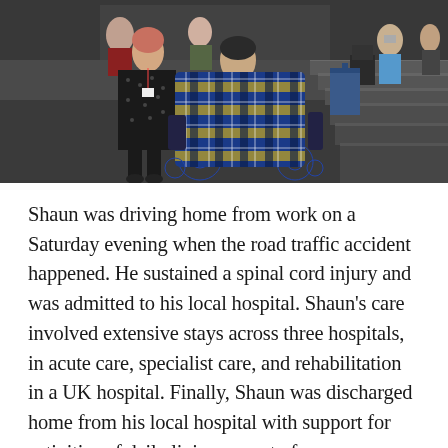[Figure (photo): A person in a powered wheelchair covered with a blue and yellow plaid blanket, accompanied by a woman in a black patterned dress with a lanyard, in what appears to be a conference or auditorium setting. Other attendees visible in the background, some taking photos. Tiered seating visible on the right.]
Shaun was driving home from work on a Saturday evening when the road traffic accident happened. He sustained a spinal cord injury and was admitted to his local hospital. Shaun's care involved extensive stays across three hospitals, in acute care, specialist care, and rehabilitation in a UK hospital. Finally, Shaun was discharged home from his local hospital with support for activities of daily living as part of a